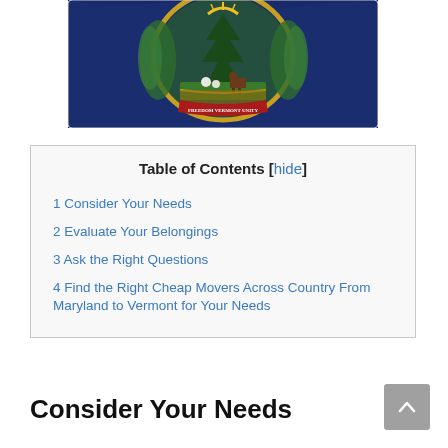[Figure (photo): Vermont state flag with blue background and state coat of arms featuring a pine tree, cow, sheaves of wheat, and red banner reading VERMONT FREEDOM AND UNITY]
| Table of Contents |
| --- |
| 1 Consider Your Needs |
| 2 Evaluate Your Belongings |
| 3 Ask the Right Questions |
| 4 Find the Right Cheap Movers Across Country From Maryland to Vermont for Your Needs |
Consider Your Needs